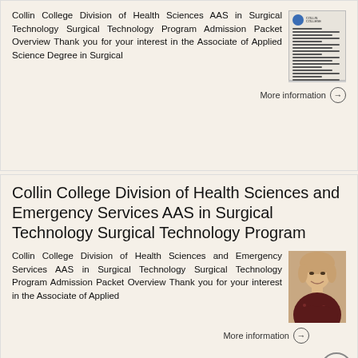Collin College Division of Health Sciences AAS in Surgical Technology Surgical Technology Program Admission Packet Overview Thank you for your interest in the Associate of Applied Science Degree in Surgical
[Figure (photo): Thumbnail image of a document page with Collin College logo]
More information →
Collin College Division of Health Sciences and Emergency Services AAS in Surgical Technology Surgical Technology Program
Collin College Division of Health Sciences and Emergency Services AAS in Surgical Technology Surgical Technology Program Admission Packet Overview Thank you for your interest in the Associate of Applied
[Figure (photo): Photo of a woman with light hair wearing a dark patterned blouse, smiling at the camera]
More information →